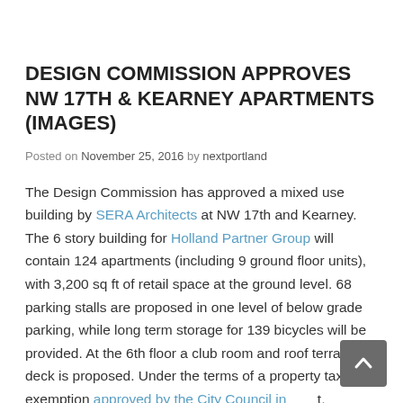DESIGN COMMISSION APPROVES NW 17TH & KEARNEY APARTMENTS (IMAGES)
Posted on November 25, 2016 by nextportland
The Design Commission has approved a mixed use building by SERA Architects at NW 17th and Kearney. The 6 story building for Holland Partner Group will contain 124 apartments (including 9 ground floor units), with 3,200 sq ft of retail space at the ground level. 68 parking stalls are proposed in one level of below grade parking, while long term storage for 139 bicycles will be provided. At the 6th floor a club room and roof terrace deck is proposed. Under the terms of a property tax exemption approved by the City Council in…t,